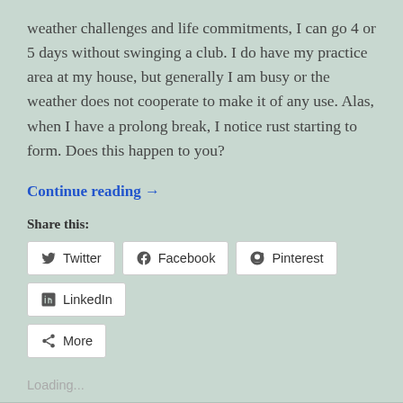weather challenges and life commitments, I can go 4 or 5 days without swinging a club. I do have my practice area at my house, but generally I am busy or the weather does not cooperate to make it of any use. Alas, when I have a prolong break, I notice rust starting to form. Does this happen to you?
Continue reading →
Share this:
Twitter
Facebook
Pinterest
LinkedIn
More
Loading...